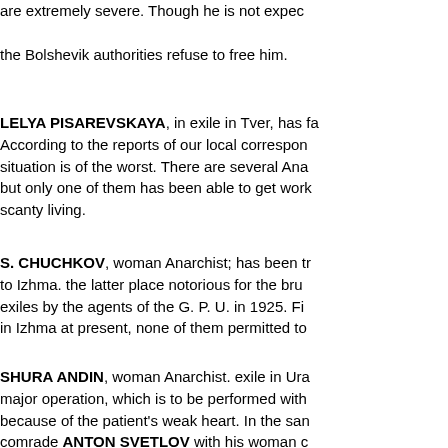are extremely severe. Though he is not expected to die, the Bolshevik authorities refuse to free him.
LELYA PISAREVSKAYA, in exile in Tver, has fallen ill. According to the reports of our local correspondent, her situation is of the worst. There are several Anarchists there, but only one of them has been able to get work, earning a scanty living.
S. CHUCHKOV, woman Anarchist; has been transferred to Izhma. the latter place notorious for the brutal treatment of exiles by the agents of the G. P. U. in 1925. Five Anarchists are in Izhma at present, none of them permitted to leave.
SHURA ANDIN, woman Anarchist. exile in Ural, requires a major operation, which is to be performed with great risk because of the patient's weak heart. In the same region is comrade ANTON SVETLOV with his woman co...